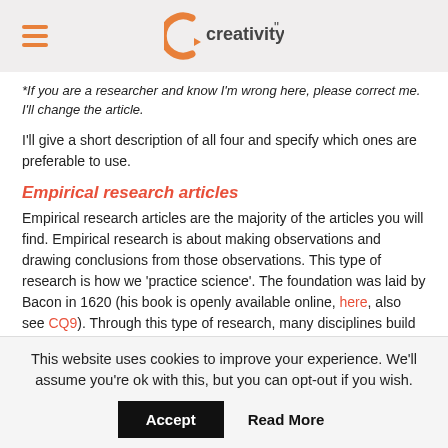creativity
*If you are a researcher and know I'm wrong here, please correct me. I'll change the article.
I'll give a short description of all four and specify which ones are preferable to use.
Empirical research articles
Empirical research articles are the majority of the articles you will find. Empirical research is about making observations and drawing conclusions from those observations. This type of research is how we 'practice science'. The foundation was laid by Bacon in 1620 (his book is openly available online, here, also see CQ9). Through this type of research, many disciplines build on a body of knowledge on specific topics.
This website uses cookies to improve your experience. We'll assume you're ok with this, but you can opt-out if you wish.